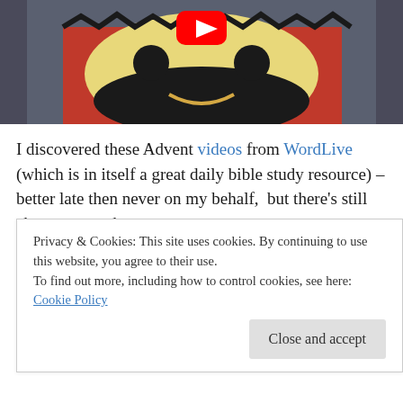[Figure (photo): A photo of a cartoon-like face made from a red cup or lantern, with a YouTube play button logo on the forehead, black circular eyes, a wide black mustache/beard shape, and a small curved smile. Dark textured background.]
I discovered these Advent videos from WordLive (which is in itself a great daily bible study resource) – better late then never on my behalf,  but there's still chance to catch up.
Watching today's brought a thought that had never
Privacy & Cookies: This site uses cookies. By continuing to use this website, you agree to their use.
To find out more, including how to control cookies, see here: Cookie Policy
Close and accept